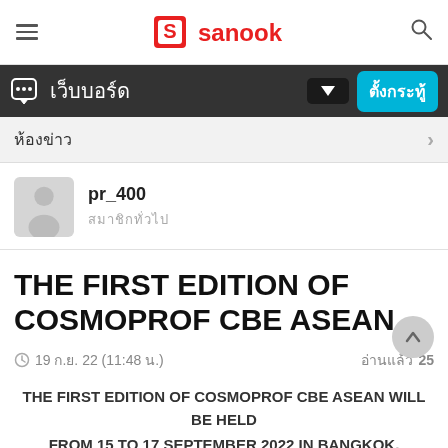sanook
เว็บบอร์ด
ห้องข่าว
pr_400 สมาชิกทั่วไป
THE FIRST EDITION OF COSMOPROF CBE ASEAN
19 ก.ย. 22 (11:48 น.) อ่านแล้ว 25
THE FIRST EDITION OF COSMOPROF CBE ASEAN WILL BE HELD
FROM 15 TO 17 SEPTEMBER 2022 IN BANGKOK,